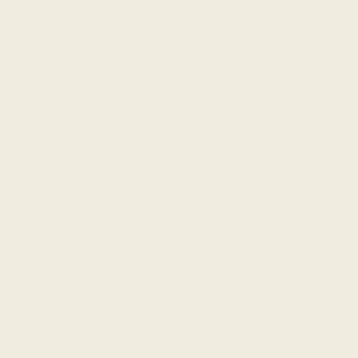| Topic | Author |
| --- | --- |
| Re: Ivy League Admissions. | Wren |
| Re: Ivy League Admissions. | madeinu |
| Re: Ivy League Admissions. | Dude |
| Re: Ivy League Admissions. | Bostonia |
| Re: Ivy League Admissions. | 22B |
| Re: Ivy League Admissions. | raptor_d |
| Re: Ivy League Admissions. | Bostonia |
| Re: Ivy League Admissions. | raptor_d |
| Re: Ivy League Admissions. | Bostonia |